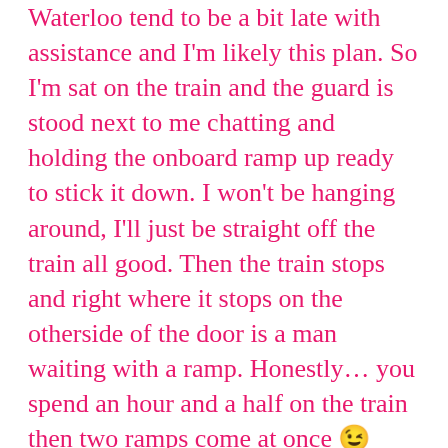Waterloo tend to be a bit late with assistance and I'm likely this plan. So I'm sat on the train and the guard is stood next to me chatting and holding the onboard ramp up ready to stick it down. I won't be hanging around, I'll just be straight off the train all good. Then the train stops and right where it stops on the otherside of the door is a man waiting with a ramp. Honestly… you spend an hour and a half on the train then two ramps come at once 😉
I mooched around for a little while or so (popped briefly to one of my favourite London places that's right by Waterloo but didn't have time to do it justice. Probably shouldn't have bothered but it's free and they have a much nicer disabled loo than Waterloo does 😐 ) then